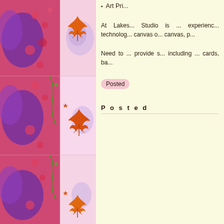[Figure (illustration): Repeating decorative tiles showing orange/red maple leaves on pink textured background with purple and red floral border elements on the left side. Three visible tile sections stacked vertically.]
Art Pri...
At Lakes... Studio is ... experienc... technolog... canvas o... canvas, p...
Need to ... provide s... including ... cards, ba...
Posted
P o s t e d